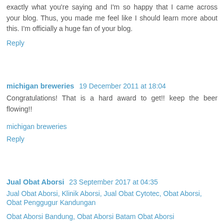exactly what you're saying and I'm so happy that I came across your blog. Thus, you made me feel like I should learn more about this. I'm officially a huge fan of your blog.
Reply
michigan breweries  19 December 2011 at 18:04
Congratulations! That is a hard award to get!! keep the beer flowing!!
michigan breweries
Reply
Jual Obat Aborsi  23 September 2017 at 04:35
Jual Obat Aborsi, Klinik Aborsi, Jual Obat Cytotec, Obat Aborsi, Obat Penggugur Kandungan
Obat Aborsi Bandung, Obat Aborsi Batam Obat Aborsi
Apot Obat Aborsi...